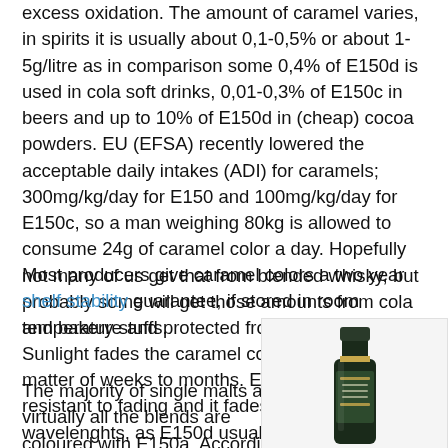excess oxidation. The amount of caramel varies, in spirits it is usually about 0,1-0,5% or about 1-5g/litre as in comparison some 0,4% of E150d is used in cola soft drinks, 0,01-0,3% of E150c in beers and up to 10% of E150d in (cheap) cocoa powders. EU (EFSA) recently lowered the acceptable daily intakes (ADI) for caramels; 300mg/kg/day for E150 and 100mg/kg/day for E150c, so a man weighing 80kg is allowed to consume 24g of caramel color a day. Hopefully not many of us get that from blended whisky, but probably some will get those amounts from cola and bakery stuffs.
Most producers give caramel colors a two year shelf stability guarantee, if stored in room temperature and protected from sunlight. Sunlight fades the caramel colors rapidly, in matter of weeks to months. E150a is the most resistant to fading and it fades evenly in all wavelenghts, as E150d usually fades more of the higher wavelenghts (red fades first).
The majority of single malts and virtually all the blends are coloured with E150a. According to The Scotch Whisky Regulation in 2009, only 'plain caramel'...
[Figure (photo): A dark whisky bottle with a green/black label and gold cap, partially visible against a white background.]